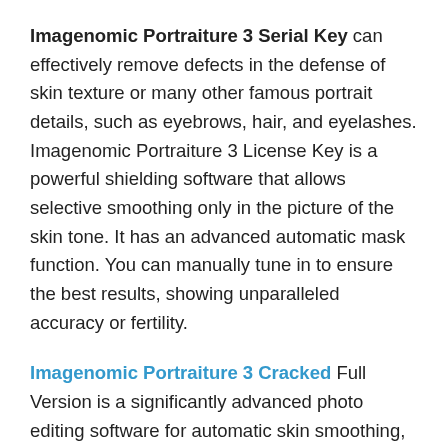Imagenomic Portraiture 3 Serial Key can effectively remove defects in the defense of skin texture or many other famous portrait details, such as eyebrows, hair, and eyelashes. Imagenomic Portraiture 3 License Key is a powerful shielding software that allows selective smoothing only in the picture of the skin tone. It has an advanced automatic mask function. You can manually tune in to ensure the best results, showing unparalleled accuracy or fertility.
Imagenomic Portraiture 3 Cracked Full Version is a significantly advanced photo editing software for automatic skin smoothing, improvement, and flattering effect plug-ins. Imagenomic Portraiture 3 Serial Number can enhance the texture of the skin, reduce wrinkles, smooth and spot. It can effectively smooth and remove defects in the preservation of skin texture and